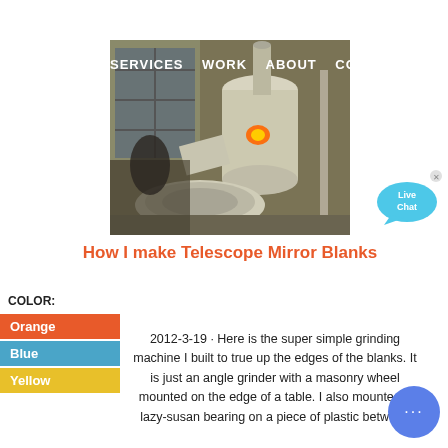SERVICES   WORK   ABOUT   CONTACT
[Figure (photo): Industrial grinding machine in a workshop setting — a large white cylindrical machine with attached pipes and a disc-shaped component, glowing light visible from an opening.]
How I make Telescope Mirror Blanks
COLOR:
Orange
Blue
Yellow
2012-3-19 · Here is the super simple grinding machine I built to true up the edges of the blanks. It is just an angle grinder with a masonry wheel mounted on the edge of a table. I also mounted a lazy-susan bearing on a piece of plastic between